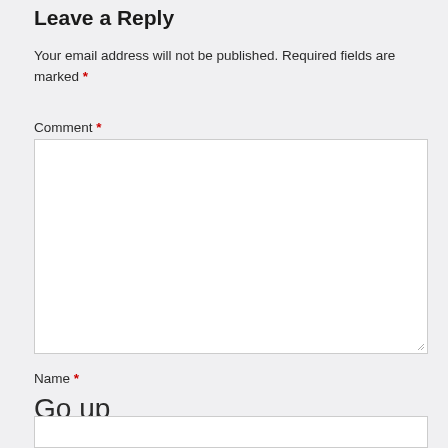Leave a Reply
Your email address will not be published. Required fields are marked *
Comment *
Name *
Go up